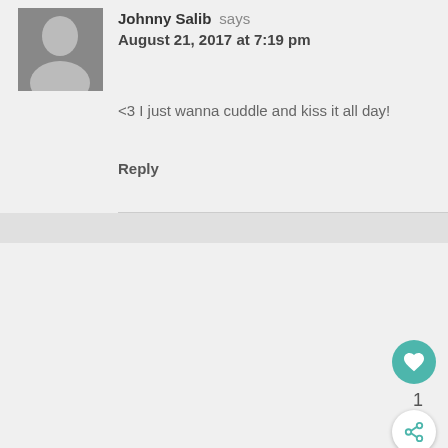Johnny Salib says
August 21, 2017 at 7:19 pm
<3 I just wanna cuddle and kiss it all day!
Reply
Crystal Stewart says
August 21, 2017 at 5:07 pm
Beau's squish face is just adorable.
Reply